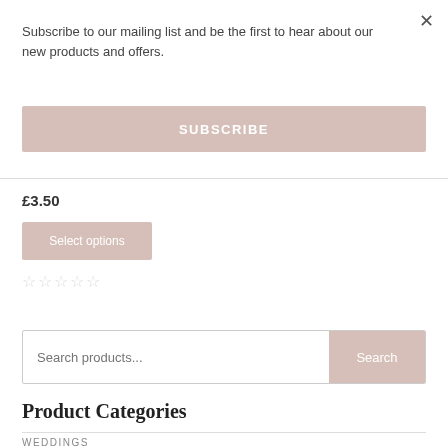×
Subscribe to our mailing list and be the first to hear about our new products and offers.
SUBSCRIBE
£3.50
Select options
☆☆☆☆☆
Search products...
Search
Product Categories
WEDDINGS